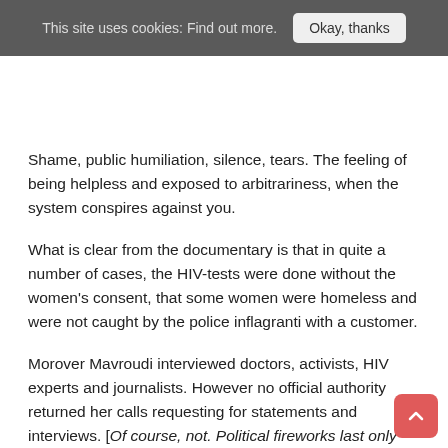This site uses cookies: Find out more.  Okay, thanks
Shame, public humiliation, silence, tears. The feeling of being helpless and exposed to arbitrariness, when the system conspires against you.
What is clear from the documentary is that in quite a number of cases, the HIV-tests were done without the women's consent, that some women were homeless and were not caught by the police inflagranti with a customer.
Morover Mavroudi interviewed doctors, activists, HIV experts and journalists. However no official authority returned her calls requesting for statements and interviews. [Of course, not. Political fireworks last only one, two weeks before elections.]